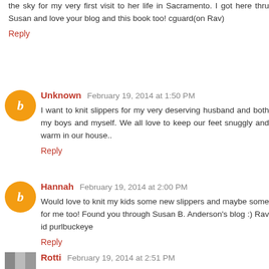the sky for my very first visit to her life in Sacramento. I got here thru Susan and love your blog and this book too! cguard(on Rav)
Reply
Unknown February 19, 2014 at 1:50 PM
I want to knit slippers for my very deserving husband and both my boys and myself. We all love to keep our feet snuggly and warm in our house..
Reply
Hannah February 19, 2014 at 2:00 PM
Would love to knit my kids some new slippers and maybe some for me too! Found you through Susan B. Anderson's blog :) Rav id purlbuckeye
Reply
Rotti February 19, 2014 at 2:51 PM